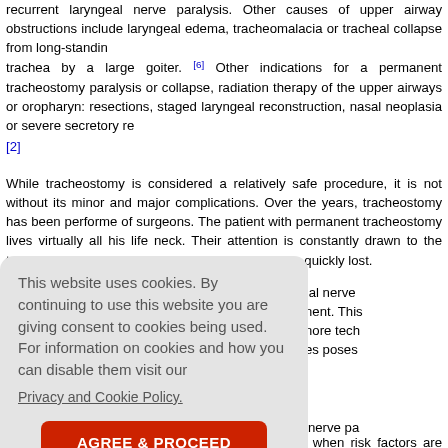recurrent laryngeal nerve paralysis. Other causes of upper airway obstructions include laryngeal edema, tracheomalacia or tracheal collapse from long-standing trachea by a large goiter. [6] Other indications for a permanent tracheostomy paralysis or collapse, radiation therapy of the upper airways or oropharyn... resections, staged laryngeal reconstruction, nasal neoplasia or severe secretory re... [2]
While tracheostomy is considered a relatively safe procedure, it is not without its minor and major complications. Over the years, tracheostomy has been performed of surgeons. The patient with permanent tracheostomy lives virtually all his life neck. Their attention is constantly drawn to the tube and the euphoria attached to primary goiter is quickly lost.
[Figure (screenshot): Cookie consent banner overlay with text 'This website uses cookies. By continuing to use this website you are giving consent to cookies being used. For information on cookies and how you can disable them visit our Privacy and Cookie Policy.' and a red 'AGREE & PROCEED' button.]
...geal nerve ...nment. This ...t more tech ...rves poses ...al nerve pa... It is often n...gh preoper...ugh enlight...ate easy a... concerned. In case of a difficult thyroidectomy or when risk factors are many, a d...